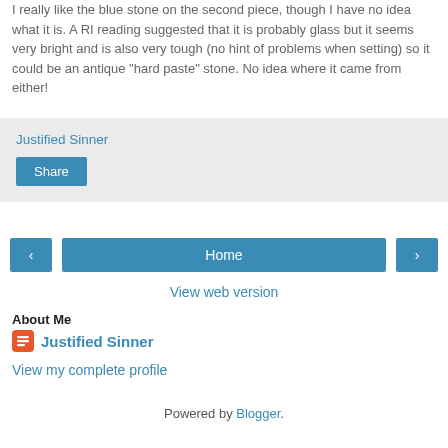I really like the blue stone on the second piece, though I have no idea what it is. A RI reading suggested that it is probably glass but it seems very bright and is also very tough (no hint of problems when setting) so it could be an antique "hard paste" stone. No idea where it came from either!
Justified Sinner
Share
‹
Home
›
View web version
About Me
Justified Sinner
View my complete profile
Powered by Blogger.